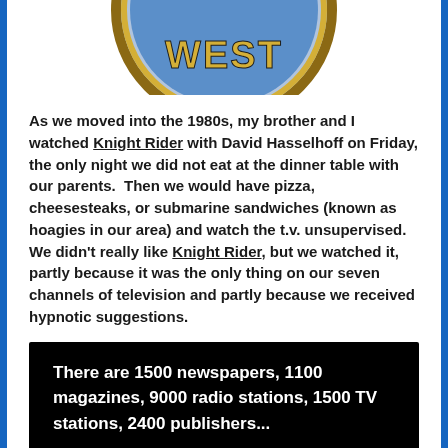[Figure (logo): Partial circular badge/logo with 'WEST' text visible, blue and gold colors]
As we moved into the 1980s, my brother and I watched Knight Rider with David Hasselhoff on Friday, the only night we did not eat at the dinner table with our parents.  Then we would have pizza, cheesesteaks, or submarine sandwiches (known as hoagies in our area) and watch the t.v. unsupervised.  We didn't really like Knight Rider, but we watched it, partly because it was the only thing on our seven channels of television and partly because we received hypnotic suggestions.
[Figure (screenshot): Black background with white bold text reading: There are 1500 newspapers, 1100 magazines, 9000 radio stations, 1500 TV stations, 2400 publishers...]